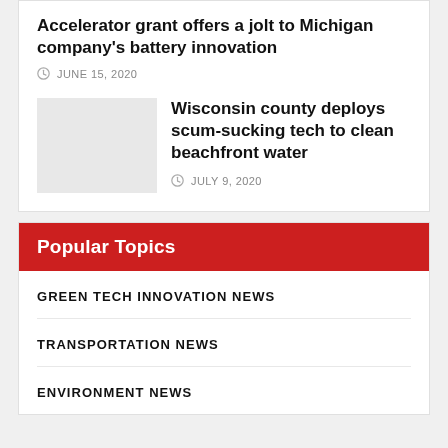Accelerator grant offers a jolt to Michigan company's battery innovation
JUNE 15, 2020
Wisconsin county deploys scum-sucking tech to clean beachfront water
JULY 9, 2020
Popular Topics
GREEN TECH INNOVATION NEWS
TRANSPORTATION NEWS
ENVIRONMENT NEWS